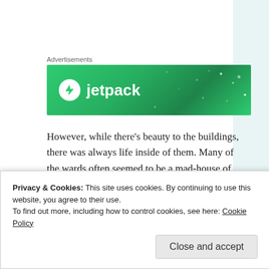Advertisements
[Figure (illustration): Jetpack advertising banner — green gradient background with white Jetpack logo (circle with lightning bolt) and white 'jetpack' text]
However, while there's beauty to the buildings, there was always life inside of them. Many of the wards often seemed to be a mad-house of activity, and rooms were frequently too packed to move around.
[Figure (photo): Interior photo of a room with large dark-framed windows and a teal/blue wall, showing what appears to be a hospital or institutional interior]
Privacy & Cookies: This site uses cookies. By continuing to use this website, you agree to their use.
To find out more, including how to control cookies, see here: Cookie Policy
Close and accept